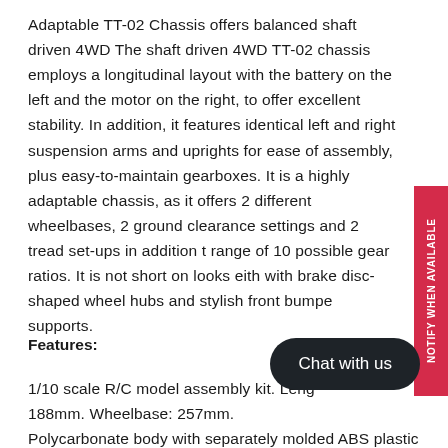Adaptable TT-02 Chassis offers balanced shaft driven 4WD The shaft driven 4WD TT-02 chassis employs a longitudinal layout with the battery on the left and the motor on the right, to offer excellent stability. In addition, it features identical left and right suspension arms and uprights for ease of assembly, plus easy-to-maintain gearboxes. It is a highly adaptable chassis, as it offers 2 different wheelbases, 2 ground clearance settings and 2 tread set-ups in addition to range of 10 possible gear ratios. It is not short on looks either with brake disc-shaped wheel hubs and stylish front bumper supports.
Features:
1/10 scale R/C model assembly kit. Length: 188mm. Wheelbase: 257mm.
Polycarbonate body with separately molded ABS plastic